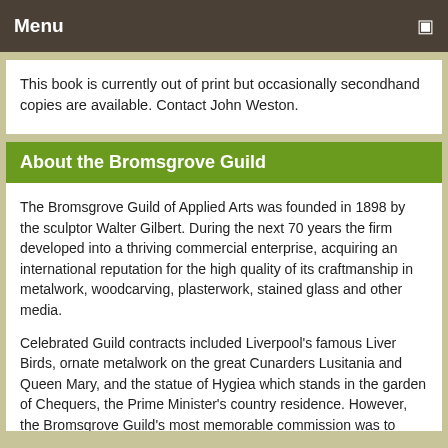Menu
This book is currently out of print but occasionally secondhand copies are available. Contact John Weston.
About the Bromsgrove Guild
The Bromsgrove Guild of Applied Arts was founded in 1898 by the sculptor Walter Gilbert. During the next 70 years the firm developed into a thriving commercial enterprise, acquiring an international reputation for the high quality of its craftmanship in metalwork, woodcarving, plasterwork, stained glass and other media.
Celebrated Guild contracts included Liverpool's famous Liver Birds, ornate metalwork on the great Cunarders Lusitania and Queen Mary, and the statue of Hygiea which stands in the garden of Chequers, the Prime Minister's country residence. However, the Bromsgrove Guild's most memorable commission was to create the wrought iron gates of Buckingham Palace. As a result of completing this contract the Guild gained a Royal Warrant...